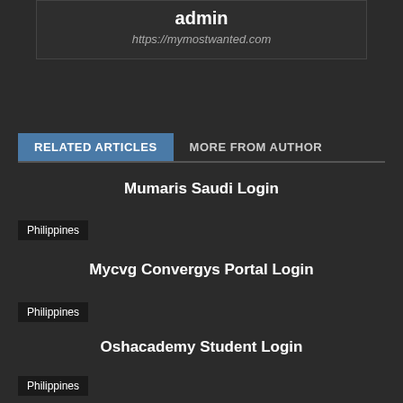admin
https://mymostwanted.com
RELATED ARTICLES
MORE FROM AUTHOR
Mumaris Saudi Login
Philippines
Mycvg Convergys Portal Login
Philippines
Oshacademy Student Login
Philippines